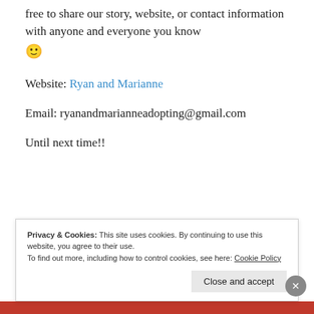free to share our story, website, or contact information with anyone and everyone you know 🙂
Website: Ryan and Marianne
Email: ryanandmarianneadopting@gmail.com
Until next time!!
Privacy & Cookies: This site uses cookies. By continuing to use this website, you agree to their use.
To find out more, including how to control cookies, see here: Cookie Policy
Close and accept